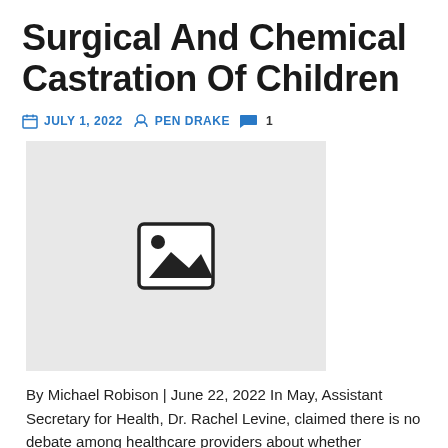Surgical And Chemical Castration Of Children
JULY 1, 2022  PEN DRAKE  1
[Figure (photo): Placeholder image with mountain/landscape icon on grey background]
By Michael Robison | June 22, 2022 In May, Assistant Secretary for Health, Dr. Rachel Levine, claimed there is no debate among healthcare providers about whether